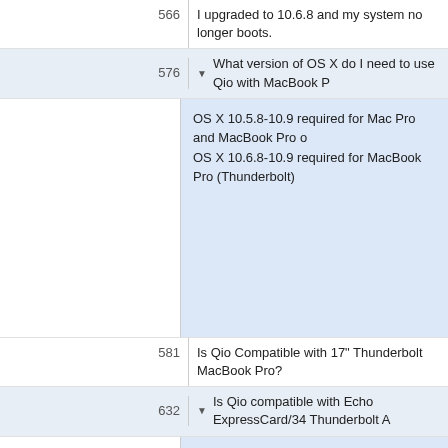566 I upgraded to 10.6.8 and my system no longer boots.
576 ▼ What version of OS X do I need to use Qio with MacBook P...
OS X 10.5.8-10.9 required for Mac Pro and MacBook Pro o... OS X 10.6.8-10.9 required for MacBook Pro (Thunderbolt)
581 Is Qio Compatible with 17" Thunderbolt MacBook Pro?
632 ▼ Is Qio compatible with Echo ExpressCard/34 Thunderbolt A...
Yes, but it requires the Sonnet PCIe Bus Extender Express... 2011; or the Sonnet PCIe 2.0 Bus Extender ExpressCard/...
633 ▼ Is Qio compatible with the Matrox T/ADP Thunderbolt Port A...
No, the Qio software is not yet compatible with a Thunderb... Thunderbolt Port Adapter.